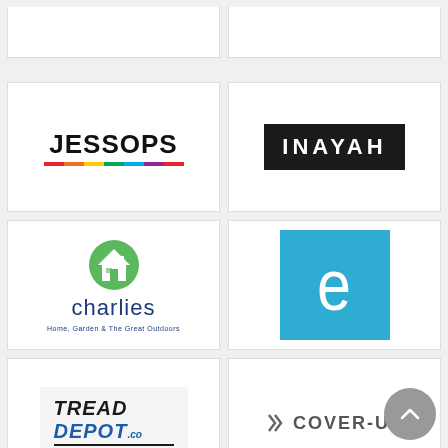[Figure (logo): Partially visible logo card at top left (cropped)]
[Figure (logo): Partially visible logo card at top right (cropped)]
[Figure (logo): Jessops logo — bold black letters 'JESSOPS' with rainbow colored bar underneath]
[Figure (logo): Inayah logo — white letters 'INAYAH' on black rectangular background]
[Figure (logo): Charlies logo — green circle house icon above blue text 'charlies' and tagline 'Home, Garden & The Great Outdoors']
[Figure (logo): Ecwid logo — white lowercase 'e' on blue square background]
[Figure (logo): Tread Depot logo — italic black 'TREAD' and blue 'DEPOT.co' with underlines, on light gray background]
[Figure (logo): Cover-Up logo — double chevron icon followed by 'COVER-UP' in bold gray letters]